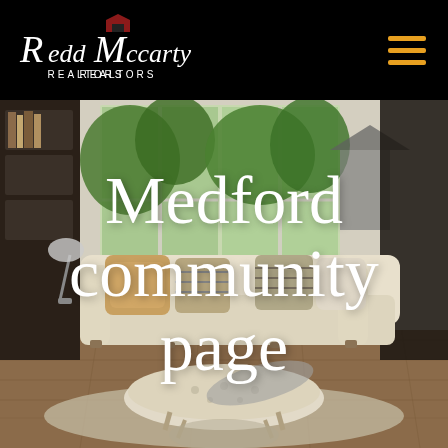Redd McCarty Realtors
[Figure (photo): Interior photo of a bright living room with a cream sofa, decorative pillows, large windows overlooking green trees, hardwood floors, and a tufted ottoman coffee table.]
Medford community page